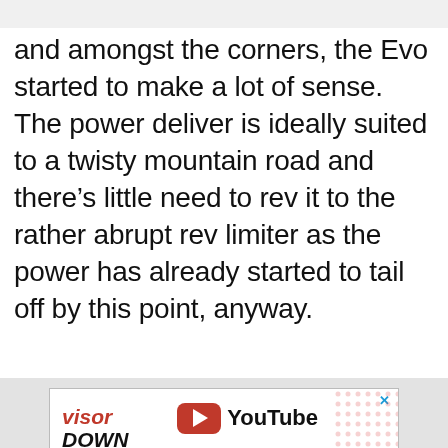and amongst the corners, the Evo started to make a lot of sense. The power deliver is ideally suited to a twisty mountain road and there's little need to rev it to the rather abrupt rev limiter as the power has already started to tail off by this point, anyway.
[Figure (screenshot): VisorDown YouTube advertisement banner showing motorcycles and visordown/YouTube logos]
[Figure (screenshot): VisorDown YouTube advertisement banner with a Kawasaki motorcycle, YouTube play button, VisorDown logo, and a Privacy Manager button]